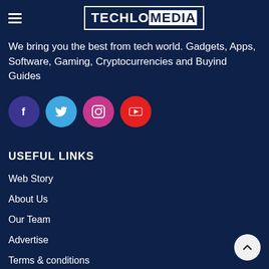[Figure (logo): TechloMedia logo in a white border box with white text on dark blue background]
We bring you the best from tech world. Gadgets, Apps, Software, Gaming, Cryptocurrencies and Buyind Guides
[Figure (infographic): Four social media icon circles: Facebook (dark purple), Twitter (light blue), Instagram (pink/magenta), YouTube (red)]
USEFUL LINKS
Web Story
About Us
Our Team
Advertise
Terms & conditions
Privacy Policy
Affiliate Disclaimer
Careers